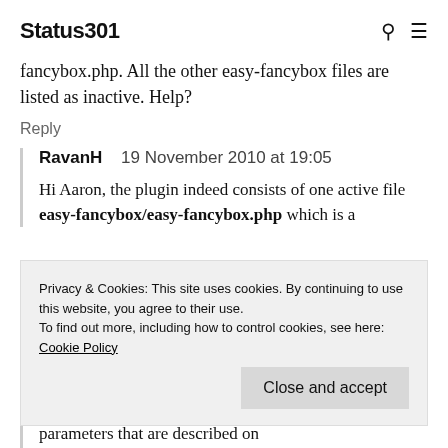Status301
fancybox.php. All the other easy-fancybox files are listed as inactive. Help?
Reply
RavanH   19 November 2010 at 19:05
Hi Aaron, the plugin indeed consists of one active file easy-fancybox/easy-fancybox.php which is a
Privacy & Cookies: This site uses cookies. By continuing to use this website, you agree to their use.
To find out more, including how to control cookies, see here: Cookie Policy
Close and accept
parameters that are described on